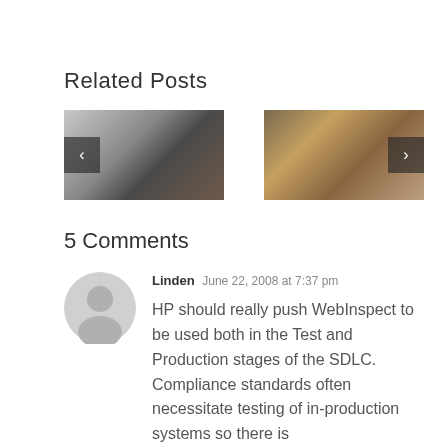Related Posts
[Figure (photo): Two thumbnail images side by side: left shows a coffee cup and gears in black and white, right shows wooden blocks in warm tones. Navigation arrows on left and right sides.]
5 Comments
[Figure (photo): Circular user avatar placeholder in gray]
Linden June 22, 2008 at 7:37 pm
HP should really push WebInspect to be used both in the Test and Production stages of the SDLC. Compliance standards often necessitate testing of in-production systems so there is